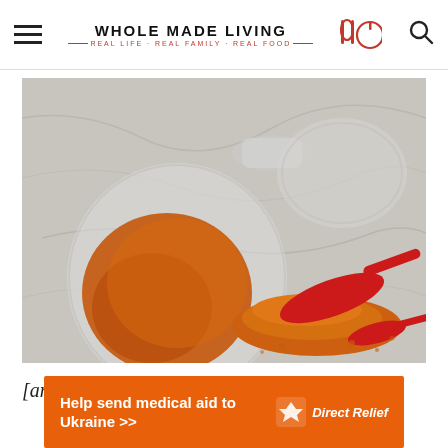WHOLE MADE LIVING — REAL LIFE · REAL FAMILY · REAL FOOD
[Figure (photo): A glass jar tipped on its side spilling orange spice powder (appears to be paprika or chili powder) onto a marble surface, with red measuring spoons nearby]
[amazon-related]
[Figure (infographic): Orange advertisement banner: 'Help send medical aid to Ukraine >>' with Direct Relief logo]